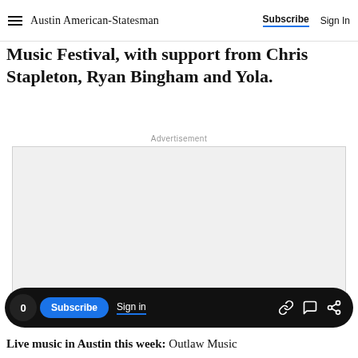Austin American-Statesman  Subscribe  Sign In
Music Festival, with support from Chris Stapleton, Ryan Bingham and Yola.
Advertisement
[Figure (other): Empty advertisement placeholder box with light gray background]
0  Subscribe  Sign in
Live music in Austin this week: Outlaw Music